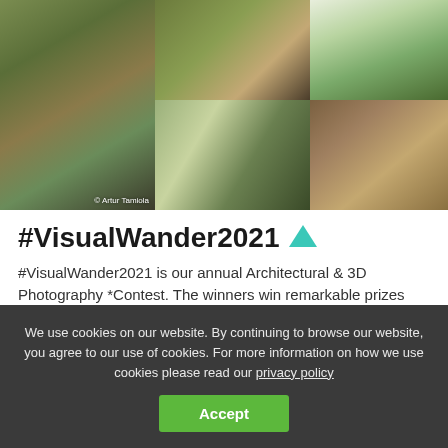[Figure (photo): Grid of 5 nature/interior photos showing plants, flowers, a hammock rope, and a living room with plants. Copyright: © Artur Tamiola]
#VisualWander2021 ▲
#VisualWander2021 is our annual Architectural & 3D Photography *Contest. The winners win remarkable prizes from VW Sponsors as well as money in cash!!!
We use cookies on our website. By continuing to browse our website, you agree to our use of cookies. For more information on how we use cookies please read our privacy policy
Accept